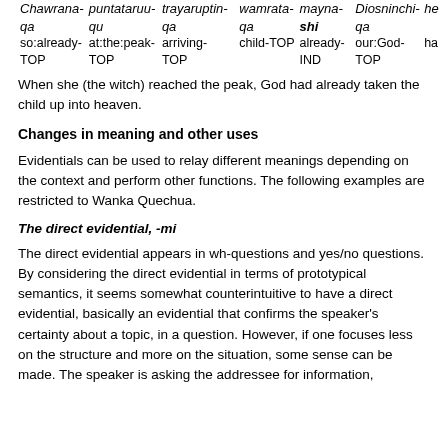| Chawrana-qa | puntataruu-qu | trayaruptin-qa | wamrata-qa | mayna-shi | Diosninchi-qa | he |
| so:already-TOP | at:the:peak-TOP | arriving-TOP | child-TOP | already-IND | our:God-TOP | ha |
When she (the witch) reached the peak, God had already taken the child up into heaven.
Changes in meaning and other uses
Evidentials can be used to relay different meanings depending on the context and perform other functions. The following examples are restricted to Wanka Quechua.
The direct evidential, -mi
The direct evidential appears in wh-questions and yes/no questions. By considering the direct evidential in terms of prototypical semantics, it seems somewhat counterintuitive to have a direct evidential, basically an evidential that confirms the speaker's certainty about a topic, in a question. However, if one focuses less on the structure and more on the situation, some sense can be made. The speaker is asking the addressee for information, thus the speaker assumes the addressee has the